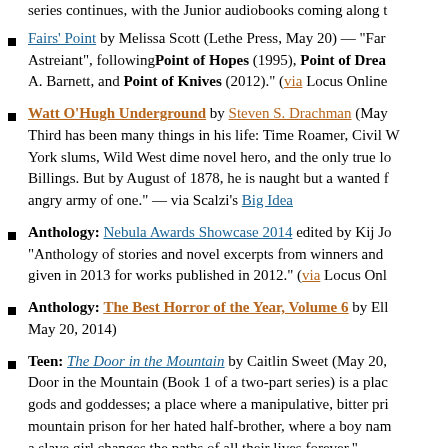series continues, with the Junior audiobooks coming along t
Fairs' Point by Melissa Scott (Lethe Press, May 20) — "Fa... Astreiant", following Point of Hopes (1995), Point of Dream... A. Barnett, and Point of Knives (2012)." (via Locus Online
Watt O'Hugh Underground by Steven S. Drachman (May... Third has been many things in his life: Time Roamer, Civil W... York slums, Wild West dime novel hero, and the only true lo... Billings. But by August of 1878, he is naught but a wanted f... angry army of one." — via Scalzi's Big Idea
Anthology: Nebula Awards Showcase 2014 edited by Kij Jo... "Anthology of stories and novel excerpts from winners and... given in 2013 for works published in 2012." (via Locus Onl
Anthology: The Best Horror of the Year, Volume 6 by Ell... May 20, 2014)
Teen: The Door in the Mountain by Caitlin Sweet (May 20,... Door in the Mountain (Book 1 of a two-part series) is a plac... gods and goddesses; a place where a manipulative, bitter pri... mountain prison for her hated half-brother, where a boy nam... a slave girl changes the paths of all their lives forever."
continuation at bottom...